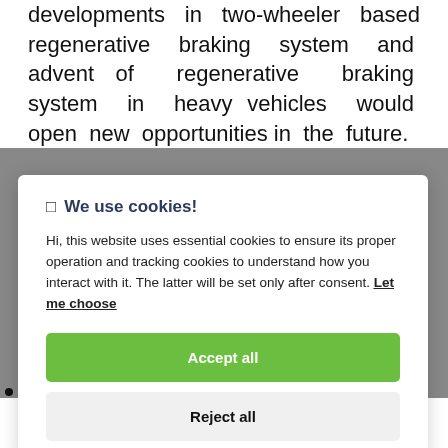developments in two-wheeler based regenerative braking system and advent of regenerative braking system in heavy vehicles would open new opportunities in the future.
[Figure (screenshot): Cookie consent modal overlay with title '🍪 We use cookies!', explanatory text about essential and tracking cookies, a 'Let me choose' link, a green 'Accept all' button, and a gray 'Reject all' button.]
During the pandemic, the demand for